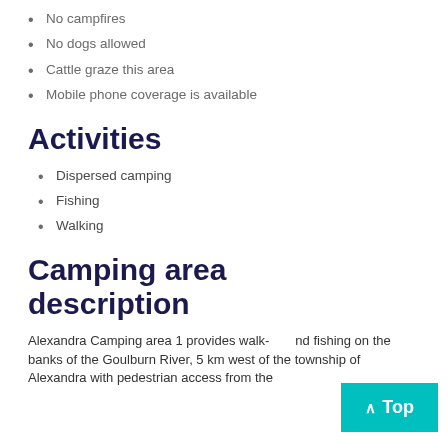No campfires
No dogs allowed
Cattle graze this area
Mobile phone coverage is available
Activities
Dispersed camping
Fishing
Walking
Camping area description
Alexandra Camping area 1 provides walk- and fishing on the banks of the Goulburn River, 5 km west of the township of Alexandra with pedestrian access from the